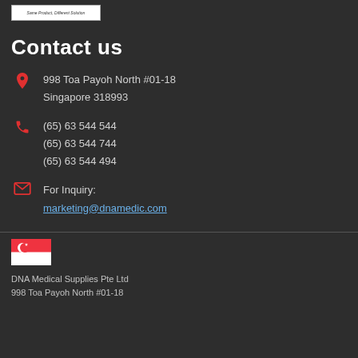[Figure (logo): Company logo placeholder with text 'Same Product, Different Solution']
Contact us
998 Toa Payoh North #01-18
Singapore 318993
(65) 63 544 544
(65) 63 544 744
(65) 63 544 494
For Inquiry:
marketing@dnamedic.com
[Figure (illustration): Singapore flag icon]
DNA Medical Supplies Pte Ltd
998 Toa Payoh North #01-18